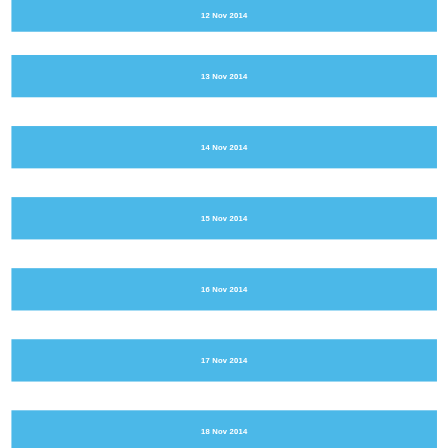12 Nov 2014
13 Nov 2014
14 Nov 2014
15 Nov 2014
16 Nov 2014
17 Nov 2014
18 Nov 2014